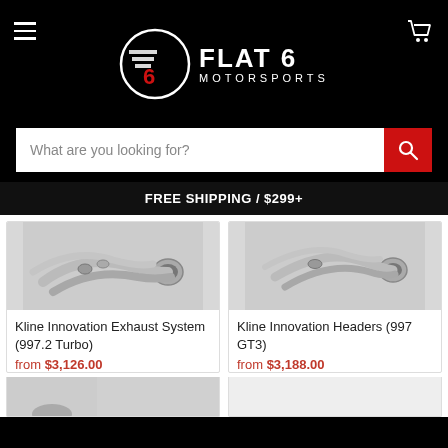[Figure (logo): Flat 6 Motorsports logo with circular emblem and text on black background]
What are you looking for?
FREE SHIPPING / $299+
[Figure (photo): Kline Innovation Exhaust System metallic pipes photo]
Kline Innovation Exhaust System (997.2 Turbo)
from $3,126.00
[Figure (photo): Kline Innovation Headers metallic pipes photo]
Kline Innovation Headers (997 GT3)
from $3,188.00
[Figure (photo): Partial product image at bottom left]